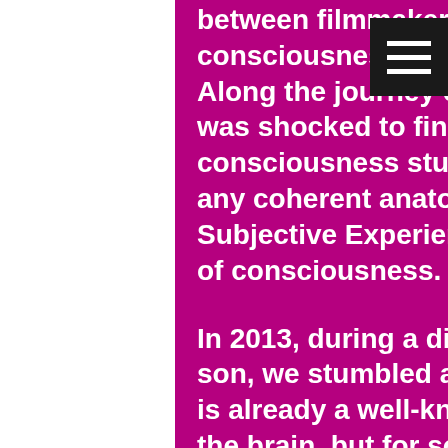between filmmaker Matt Faw and his consciousness researcher dad, Dr. Bi[ll] Faw.  Along the journey of interview[s and] research, Matt was shocked to find that the state of the art of consciousness studies was entirely missing any coherent anatomical models for explaining Subjective Experience and the other mysteries of consciousness.
In 2013, during a discussion between father and son, we stumbled across an elegant idea: there is already a well-known experience generator in the brain, but for some reason, it was being overlooked as a target site.  This experience generator is the hippocampal formation.  It creates episodic memories and serves as the 'mind's eye' for the brain's 'Intrinsic Network' (DMN).  What if 'consciousness' was a lot less mysterious than it seemed?  What if 'Subjective Experience' was really just a brand new episodic memory, still vivid and full of